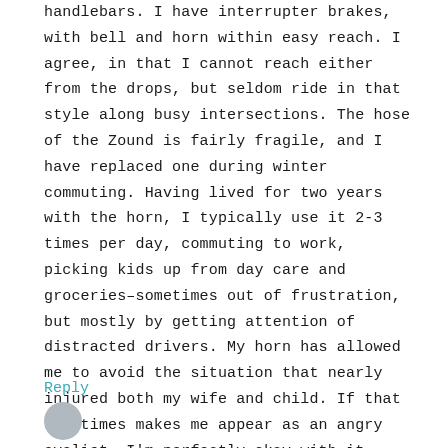handlebars. I have interrupter brakes, with bell and horn within easy reach. I agree, in that I cannot reach either from the drops, but seldom ride in that style along busy intersections. The hose of the Zound is fairly fragile, and I have replaced one during winter commuting. Having lived for two years with the horn, I typically use it 2-3 times per day, commuting to work, picking kids up from day care and groceries–sometimes out of frustration, but mostly by getting attention of distracted drivers. My horn has allowed me to avoid the situation that nearly injured both my wife and child. If that sometimes makes me appear as an angry cyclist, I'm perfectly okay with it.
Reply